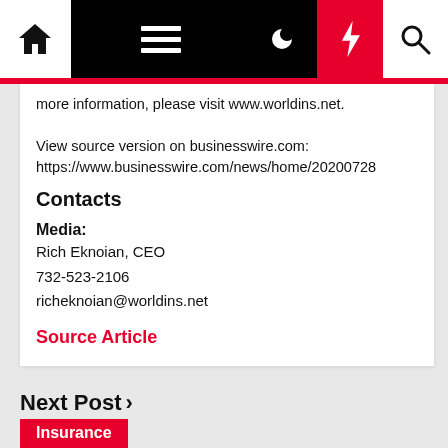Navigation bar with home, menu, moon, lightning, search icons
more information, please visit www.worldins.net.

View source version on businesswire.com:
https://www.businesswire.com/news/home/20200728
Contacts
Media:
Rich Eknoian, CEO
732-523-2106
richeknoian@worldins.net
Source Article
Next Post ›
Insurance